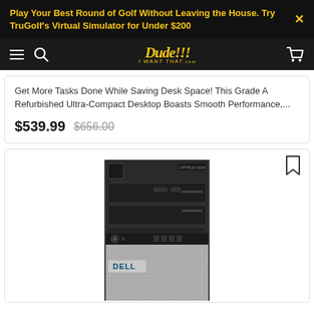Play Your Best Round of Golf Without Leaving the House. Try TruGolf's Virtual Simulator for Under $200
[Figure (logo): Dude!!! I Want That website navigation bar with hamburger menu, search icon, logo, and cart icon]
Get More Tasks Done While Saving Desk Space! This Grade A Refurbished Ultra-Compact Desktop Boasts Smooth Performance,...
$539.99  $656.00
[Figure (photo): Dell OptiPlex tower desktop computer, black and silver, front view showing drive bays, front panel ports, and mesh grille]